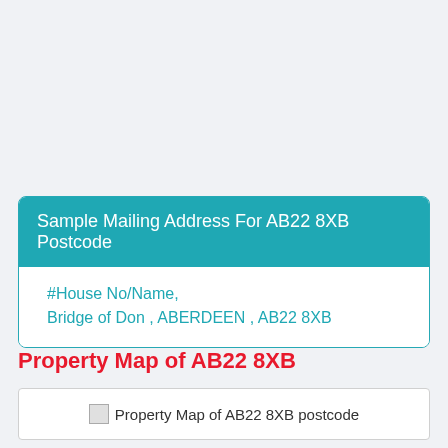Sample Mailing Address For AB22 8XB Postcode
#House No/Name,
Bridge of Don , ABERDEEN , AB22 8XB
Property Map of AB22 8XB
[Figure (other): Property Map of AB22 8XB postcode — broken image placeholder]